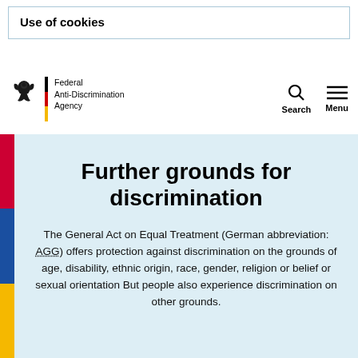Use of cookies
[Figure (logo): Federal Anti-Discrimination Agency logo with German eagle, vertical tricolor bar (black, red, yellow), and agency name text]
Federal Anti-Discrimination Agency
Further grounds for discrimination
The General Act on Equal Treatment (German abbreviation: AGG) offers protection against discrimination on the grounds of age, disability, ethnic origin, race, gender, religion or belief or sexual orientation But people also experience discrimination on other grounds.